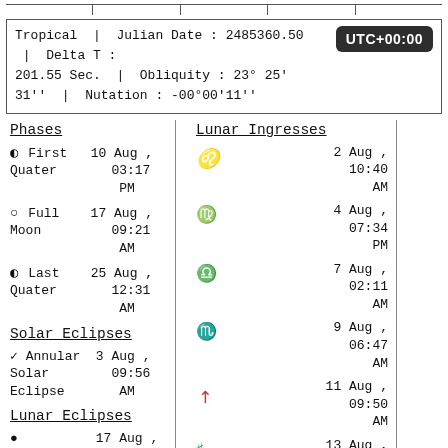|  |  |  |  |  |
| --- | --- | --- | --- | --- |
|  |
Tropical | Julian Date : 2485360.50 | Delta T : UTC+00:00
201.55 Sec. | Obliquity : 23° 25' 31'' | Nutation : -00°00'11''
Phases
Lunar Ingresses
◑ First Quater  10 Aug , 03:17 PM
○ Full Moon  17 Aug , 09:21 AM
◑ Last Quater  25 Aug , 12:31 AM
Solar Eclipses
✓ Annular Solar Eclipse  3 Aug , 09:56 AM
Lunar Eclipses
●  17 Aug ,
♌ (Leo)  2 Aug , 10:40 AM
♍ (Virgo)  4 Aug , 07:34 PM
♎ (Libra)  7 Aug , 02:11 AM
♏ (Scorpio)  9 Aug , 06:47 AM
♐ (Sagittarius)  11 Aug , 09:50 AM
♑ (Capricorn)  13 Aug , 11:57 AM